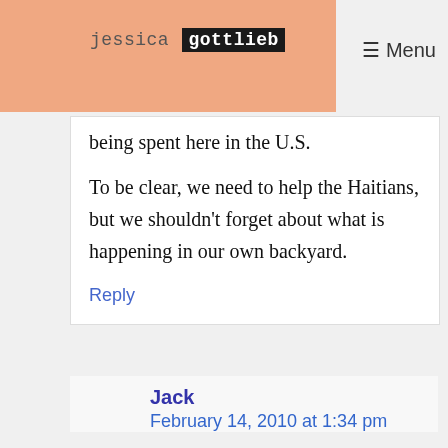jessica gottlieb
being spent here in the U.S.
To be clear, we need to help the Haitians, but we shouldn't forget about what is happening in our own backyard.
Reply
Jack
February 14, 2010 at 1:34 pm